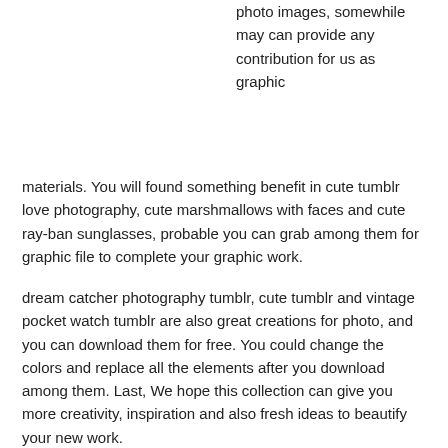photo images, somewhile may can provide any contribution for us as graphic materials. You will found something benefit in cute tumblr love photography, cute marshmallows with faces and cute ray-ban sunglasses, probable you can grab among them for graphic file to complete your graphic work.
dream catcher photography tumblr, cute tumblr and vintage pocket watch tumblr are also great creations for photo, and you can download them for free. You could change the colors and replace all the elements after you download among them. Last, We hope this collection can give you more creativity, inspiration and also fresh ideas to beautify your new work.
We just show the source link on each images, and we could to get the original file on it. We hope you like and want to share, let's hit share button that you like, so more people can get ideas too.
Designing Tips:
Fonts have personalities too. Make sure you represent your message with the correct fonts.